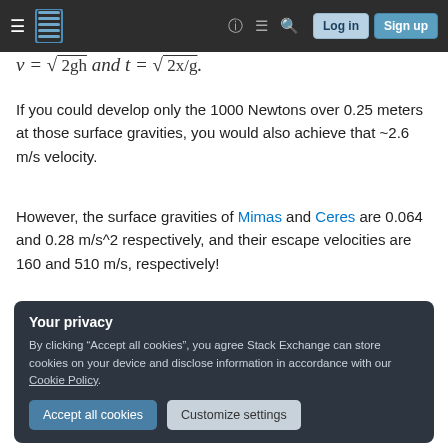Stack Exchange navigation bar with Log in and Sign up buttons
If you could develop only the 1000 Newtons over 0.25 meters at those surface gravities, you would also achieve that ~2.6 m/s velocity.
However, the surface gravities of Mimas and Ceres are 0.064 and 0.28 m/s^2 respectively, and their escape velocities are 160 and 510 m/s, respectively!
So... no chance, not even close!
Your privacy
By clicking "Accept all cookies", you agree Stack Exchange can store cookies on your device and disclose information in accordance with our Cookie Policy.